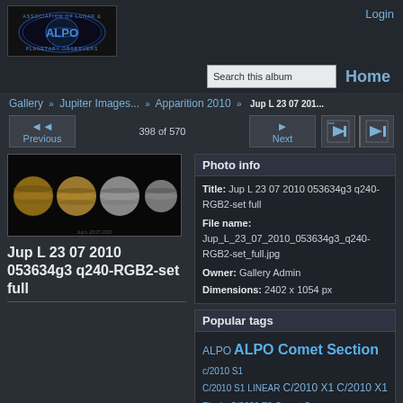[Figure (logo): ALPO - Association of Lunar and Planetary Observers logo with blue text and globe graphic]
Login
Search this album    Home
Gallery » Jupiter Images... » Apparition 2010 » Jup L 23 07 201...
398 of 570
◄◄ Previous    Next ►
[Figure (photo): Four images of Jupiter in a row on black background showing surface bands]
Photo info
Title: Jup L 23 07 2010 053634g3 q240-RGB2-set full
File name: Jup_L_23_07_2010_053634g3_q240-RGB2-set_full.jpg
Owner: Gallery Admin
Dimensions: 2402 x 1054 px
Jup L 23 07 2010 053634g3 q240-RGB2-set full
Popular tags
ALPO ALPO Comet Section c/2010 S1 C/2010 S1 LINEAR C/2010 X1 C/2010 X1 Elenin C/2020 F3 Comet Coma Comet Comet Bow Shock Fan Comet Catalina Comet Catalina c/2013 US10 Comet Catalina Close-up Comet Dust Tail